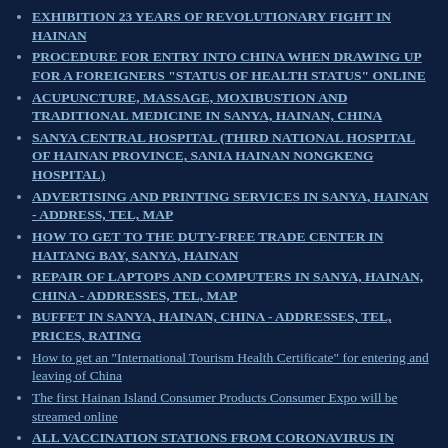EXHIBITION 23 YEARS OF REVOLUTIONARY FIGHT IN HAINAN
PROCEDURE FOR ENTRY INTO CHINA WHEN DRAWING UP FOR A FOREIGNERS "STATUS OF HEALTH STATUS" ONLINE
ACUPUNCTURE, MASSAGE, MOXIBUSTION AND TRADITIONAL MEDICINE IN SANYA, HAINAN, CHINA
SANYA CENTRAL HOSPITAL (THIRD NATIONAL HOSPITAL OF HAINAN PROVINCE, SANIA HAINAN NONGKENG HOSPITAL)
ADVERTISING AND PRINTING SERVICES IN SANYA, HAINAN - ADDRESS, TEL, MAP
HOW TO GET TO THE DUTY-FREE TRADE CENTER IN HAITANG BAY, SANYA, HAINAN
REPAIR OF LAPTOPS AND COMPUTERS IN SANYA, HAINAN, CHINA - ADDRESSES, TEL, MAP
BUFFET IN SANYA, HAINAN, CHINA - ADDRESSES, TEL, PRICES, RATING
How to get an "International Tourism Health Certificate" for entering and leaving of China
The first Hainan Island Consumer Products Consumer Expo will be streamed online
ALL VACCINATION STATIONS FROM CORONAVIRUS IN SANYA, HAINAN: ADDRESS, TELEPHONE